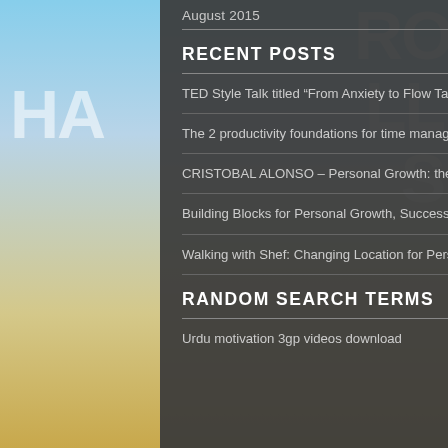August 2015
RECENT POSTS
TED Style Talk titled “From Anxiety to Flow Taking Back Control”
The 2 productivity foundations for time management success from SelfieMotivation.Com
CRISTOBAL ALONSO – Personal Growth: the journey and challenges
Building Blocks for Personal Growth, Success, and Happiness – Andy Bernot
Walking with Shef: Changing Location for Personal Growth
RANDOM SEARCH TERMS
Urdu motivation 3gp videos download